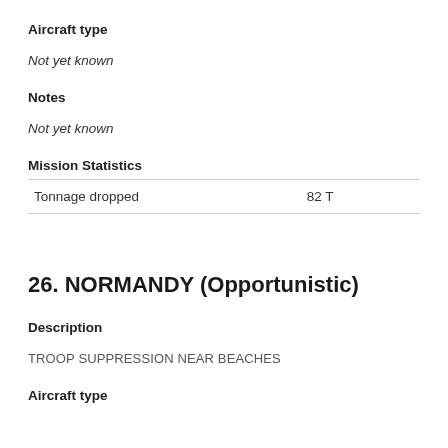Aircraft type
Not yet known
Notes
Not yet known
Mission Statistics
| Tonnage dropped | 82 T |
26. NORMANDY (Opportunistic)
Description
TROOP SUPPRESSION NEAR BEACHES
Aircraft type